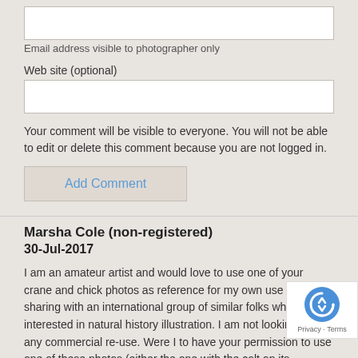Email address visible to photographer only
Web site (optional)
Your comment will be visible to everyone. You will not be able to edit or delete this comment because you are not logged in.
Add Comment
Marsha Cole (non-registered)
30-Jul-2017
I am an amateur artist and would love to use one of your crane and chick photos as reference for my own use and for sharing with an international group of similar folks who are interested in natural history illustration. I am not looking for any commercial re-use. Were I to have your permission to use one of these photos (either the one with the colt on its mother's back or the one with the mother bending down over the colt) I would certainly credit you and send all who view it to your site, which is fabulous, by the way. I am a big fan also of the work on Gopher Turtles. Many thanks for your consideration.
[Figure (logo): reCAPTCHA logo badge with Privacy and Terms links]